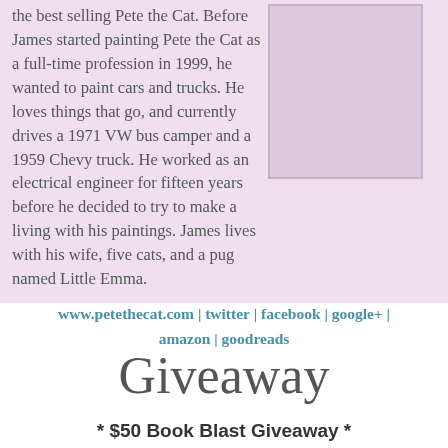the best selling Pete the Cat. Before James started painting Pete the Cat as a full-time profession in 1999, he wanted to paint cars and trucks. He loves things that go, and currently drives a 1971 VW bus camper and a 1959 Chevy truck. He worked as an electrical engineer for fifteen years before he decided to try to make a living with his paintings. James lives with his wife, five cats, and a pug named Little Emma.
[Figure (photo): Placeholder image box with light purple/mauve background color]
www.petethecat.com | twitter | facebook | google+ | amazon | goodreads
Giveaway
* $50 Book Blast Giveaway *